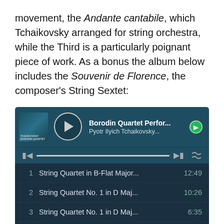movement, the Andante cantabile, which Tchaikovsky arranged for string orchestra, while the Third is a particularly poignant piece of work. As a bonus the album below includes the Souvenir de Florence, the composer's String Sextet:
[Figure (screenshot): Spotify-style music player showing Borodin Quartet performing Pyotr Ilyich Tchaikovsky, with a track listing of 7 string quartet pieces with durations]